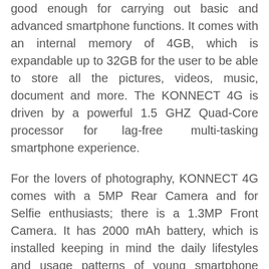good enough for carrying out basic and advanced smartphone functions. It comes with an internal memory of 4GB, which is expandable up to 32GB for the user to be able to store all the pictures, videos, music, document and more. The KONNECT 4G is driven by a powerful 1.5 GHZ Quad-Core processor for lag-free multi-tasking smartphone experience.
For the lovers of photography, KONNECT 4G comes with a 5MP Rear Camera and for Selfie enthusiasts; there is a 1.3MP Front Camera. It has 2000 mAh battery, which is installed keeping in mind the daily lifestyles and usage patterns of young smartphone users. This is one of the budgeted smartphone for the users across. Also, its Dual-SIM4G-connectivity provides an effortless share-and-upload speed through the smartphone.